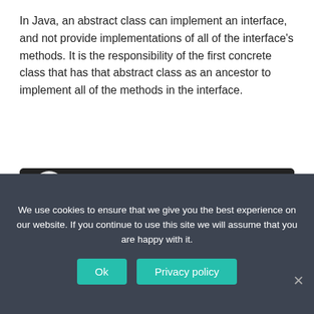In Java, an abstract class can implement an interface, and not provide implementations of all of the interface's methods. It is the responsibility of the first concrete class that has that abstract class as an ancestor to implement all of the methods in the interface.
[Figure (screenshot): YouTube video thumbnail showing 'Part 33 - C# Tutorial - Difference bet...' with Pragim Technologies logo, video title 'C# Video Tutorial', subtitle 'Part 33 - Difference Between Abstract Classes and Interfaces', website URLs, and a red play button overlay.]
We use cookies to ensure that we give you the best experience on our website. If you continue to use this site we will assume that you are happy with it.